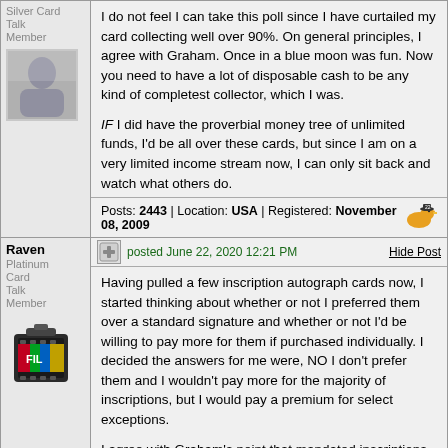Silver Card Talk Member
I do not feel I can take this poll since I have curtailed my card collecting well over 90%. On general principles, I agree with Graham. Once in a blue moon was fun. Now you need to have a lot of disposable cash to be any kind of completest collector, which I was.
IF I did have the proverbial money tree of unlimited funds, I'd be all over these cards, but since I am on a very limited income stream now, I can only sit back and watch what others do.
Posts: 2443 | Location: USA | Registered: November 08, 2009
Raven
Platinum Card Talk Member
posted June 22, 2020 12:21 PM
Hide Post
Having pulled a few inscription autograph cards now, I started thinking about whether or not I preferred them over a standard signature and whether or not I'd be willing to pay more for them if purchased individually. I decided the answers for me were, NO I don't prefer them and I wouldn't pay more for the majority of inscriptions, but I would pay a premium for select exceptions.
I agree with Graham's point that mandated inscriptions were designed to extend the shelf life and demand for aging titles and repeat signers, but its more than that.